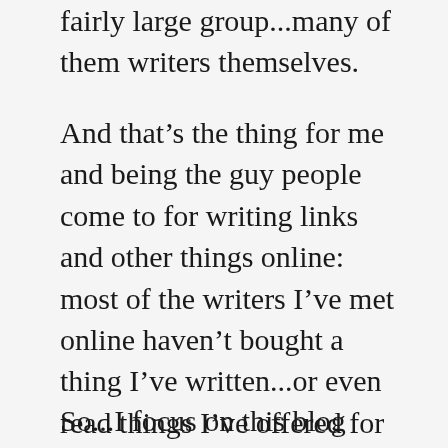fairly large group...many of them writers themselves.
And that’s the thing for me and being the guy people come to for writing links and other things online: most of the writers I’ve met online haven’t bought a thing I’ve written...or even read things I’ve offered for free. We chat writing, and that’s nice. I’ve had people thank me for sharing a cool link. But it really doesn’t equate to sales. (Not that’s what I’m after, or why I share things online.)
So...I focus on this blog more. I like